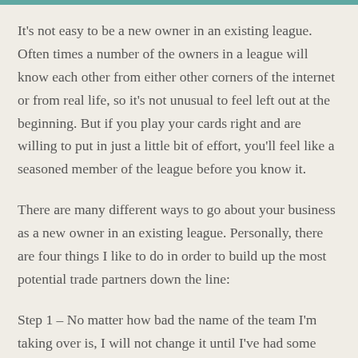It's not easy to be a new owner in an existing league. Often times a number of the owners in a league will know each other from either other corners of the internet or from real life, so it's not unusual to feel left out at the beginning. But if you play your cards right and are willing to put in just a little bit of effort, you'll feel like a seasoned member of the league before you know it.
There are many different ways to go about your business as a new owner in an existing league. Personally, there are four things I like to do in order to build up the most potential trade partners down the line:
Step 1 – No matter how bad the name of the team I'm taking over is, I will not change it until I've had some roster turnover. I do think both owners with a long running league, as a line of...